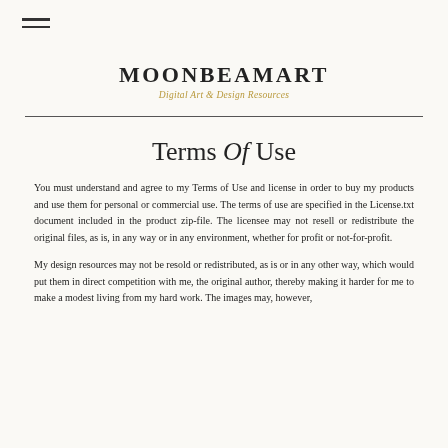MOONBEAMART
Digital Art & Design Resources
Terms Of Use
You must understand and agree to my Terms of Use and license in order to buy my products and use them for personal or commercial use. The terms of use are specified in the License.txt document included in the product zip-file. The licensee may not resell or redistribute the original files, as is, in any way or in any environment, whether for profit or not-for-profit.
My design resources may not be resold or redistributed, as is or in any other way, which would put them in direct competition with me, the original author, thereby making it harder for me to make a modest living from my hard work. The images may, however,